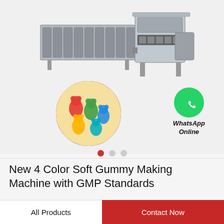[Figure (photo): A large industrial gummy candy making machine (long conveyor/cooling tunnel with processing unit) shown on a light grey background. In the lower-left area, a circular inset image shows colorful gummy bear candies. In the lower-right area, a green WhatsApp icon with the text 'WhatsApp Online' appears.]
New 4 Color Soft Gummy Making Machine with GMP Standards
All Products
Contact Now